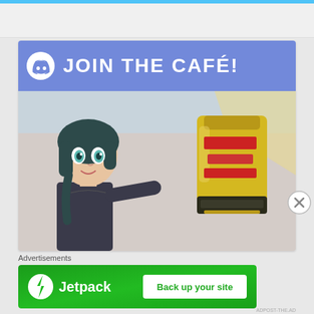[Figure (illustration): Discord server advertisement banner showing anime character holding a Japanese snack bag, with 'JOIN THE CAFE!' text and Discord logo on blue/purple header]
Advertisements
[Figure (logo): Jetpack advertisement banner with green background, Jetpack logo icon, 'Jetpack' text, and 'Back up your site' white button]